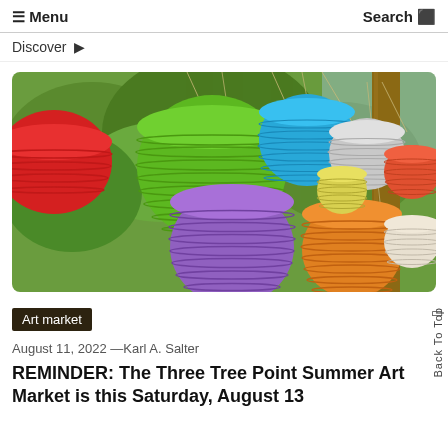☰ Menu    Search ⬛
Discover ▶
[Figure (photo): Colorful paper lanterns hanging outdoors against green trees — red, green, blue, grey, orange, purple lanterns of various sizes suspended by strings near a wooden pole]
Art market
August 11, 2022 —Karl A. Salter
REMINDER: The Three Tree Point Summer Art Market is this Saturday, August 13